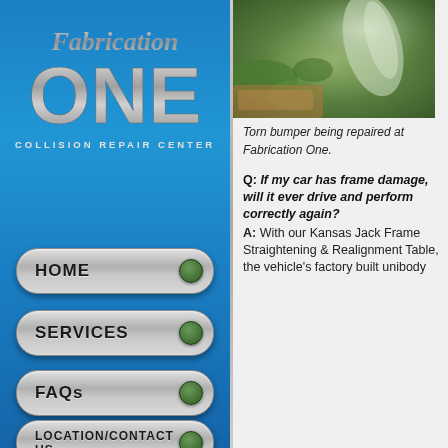[Figure (logo): Fabrication ONE Collision Repair Center logo with metallic 3D text on blue background]
HOME
SERVICES
FAQs
LOCATION/CONTACT US
[Figure (photo): Close-up photo of a torn bumper being repaired at Fabrication One, showing green and translucent parts]
Torn bumper being repaired at Fabrication One.
Q: If my car has frame damage, will it ever drive and perform correctly again? A: With our Kansas Jack Frame Straightening & Realignment Table, the vehicle's factory built unibody